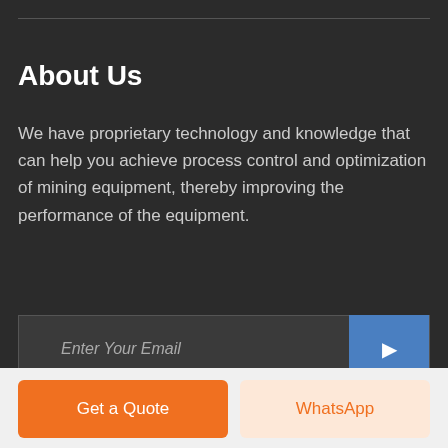About Us
We have proprietary technology and knowledge that can help you achieve process control and optimization of mining equipment, thereby improving the performance of the equipment.
Enter Your Email
Get a Quote
WhatsApp